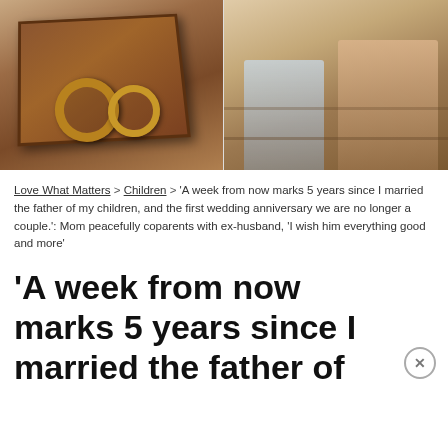[Figure (photo): Two photos side by side: left shows wedding rings in a rustic wooden box, right shows children sitting on wooden steps outdoors]
Love What Matters > Children > 'A week from now marks 5 years since I married the father of my children, and the first wedding anniversary we are no longer a couple.': Mom peacefully coparents with ex-husband, 'I wish him everything good and more'
'A week from now marks 5 years since I married the father of my children, and the first wedding...